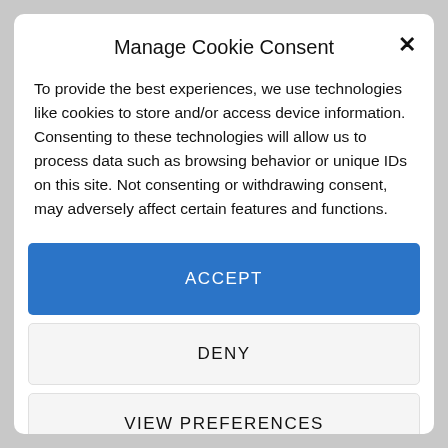Manage Cookie Consent
To provide the best experiences, we use technologies like cookies to store and/or access device information. Consenting to these technologies will allow us to process data such as browsing behavior or unique IDs on this site. Not consenting or withdrawing consent, may adversely affect certain features and functions.
ACCEPT
DENY
VIEW PREFERENCES